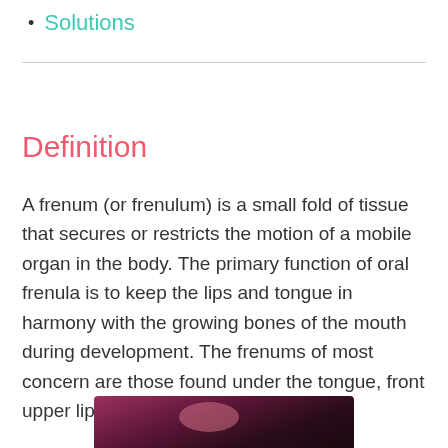Solutions
Definition
A frenum (or frenulum) is a small fold of tissue that secures or restricts the motion of a mobile organ in the body. The primary function of oral frenula is to keep the lips and tongue in harmony with the growing bones of the mouth during development. The frenums of most concern are those found under the tongue, front upper lip, and front lower lip.
[Figure (photo): Close-up photo of a mouth/lips showing oral tissue, partially visible at the bottom of the page.]